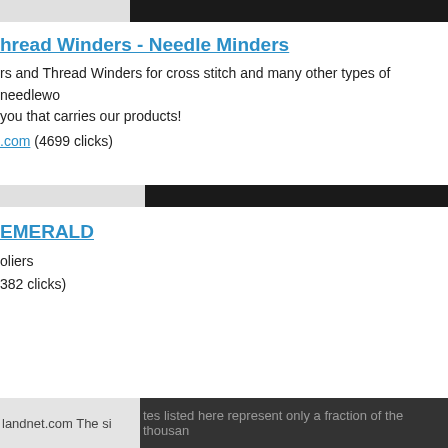hread Winders - Needle Minders
rs and Thread Winders for cross stitch and many other types of needlework. Find a store near you that carries our products!
.com (4699 clicks)
EMERALD
oliers
382 clicks)
landnet.com The sites listed here represent only a fraction of the thousand